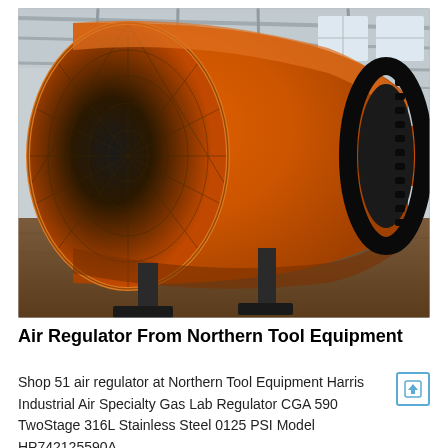[Figure (photo): Industrial photograph showing a large orange cylindrical rotary drum or dryer equipment inside a factory/warehouse. The drum is perforated/mesh on the front face, tapering toward the right where a black geared flange ring is visible. A second similar drum is visible in the background. The setting is an industrial facility with concrete floor and metal roof structure.]
Air Regulator From Northern Tool Equipment
Shop 51 air regulator at Northern Tool Equipment Harris Industrial Air Specialty Gas Lab Regulator CGA 590 TwoStage 316L Stainless Steel 0125 PSI Model HP742125590A